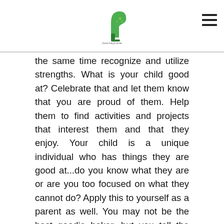[logo: JourneyLane / Journeylane.com] [hamburger menu icon]
the same time recognize and utilize strengths. What is your child good at? Celebrate that and let them know that you are proud of them. Help them to find activities and projects that interest them and that they enjoy. Your child is a unique individual who has things they are good at...do you know what they are or are you too focused on what they cannot do? Apply this to yourself as a parent as well. You may not be the best goodie baker, but you tell the best stories.
Take a good look at your child. Are they happy, healthy, safe and loved? Congratulations, you are a good parent. Ultimately, these are the things that are important. Enjoy your children for who God created them to be and appreciate the job you have been blessed with as their parent.